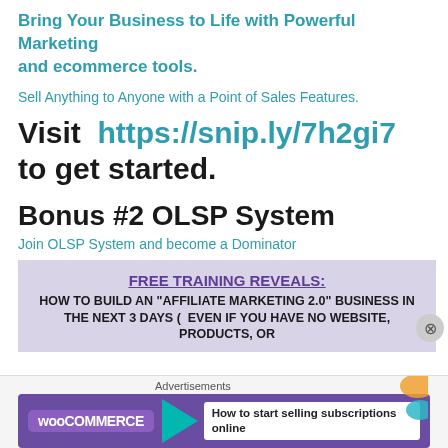Bring Your Business to Life with Powerful Marketing and ecommerce tools.
Sell Anything to Anyone with a Point of Sales Features.
Visit https://snip.ly/7h2gi7 to get started.
Bonus #2 OLSP System
Join OLSP System and become a Dominator
[Figure (infographic): Purple/lavender background banner for OLSP System. FREE TRAINING REVEALS: HOW TO BUILD AN "AFFILIATE MARKETING 2.0" BUSINESS IN THE NEXT 3 DAYS (... EVEN IF YOU HAVE NO WEBSITE, PRODUCTS, OR]
[Figure (infographic): WooCommerce advertisement banner with purple background, teal arrow, and text: How to start selling subscriptions online]